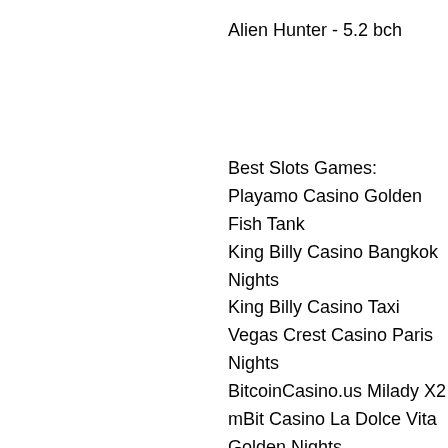Alien Hunter - 5.2 bch
Best Slots Games:
Playamo Casino Golden Fish Tank
King Billy Casino Bangkok Nights
King Billy Casino Taxi
Vegas Crest Casino Paris Nights
BitcoinCasino.us Milady X2
mBit Casino La Dolce Vita Golden Nights
Betchan Casino Treasure Hill
BetChain Casino 5 Reel Drive
Syndicate Casino Wild Jack
BitStarz Casino Crazy 7
1xBit Casino Under the Bed
mBit Casino Books and Bulls Golden Nights
Diamond Reels Casino Crystal Cash
Playamo Casino Energy Fruits
1xSlots Casino Fruits of Neon